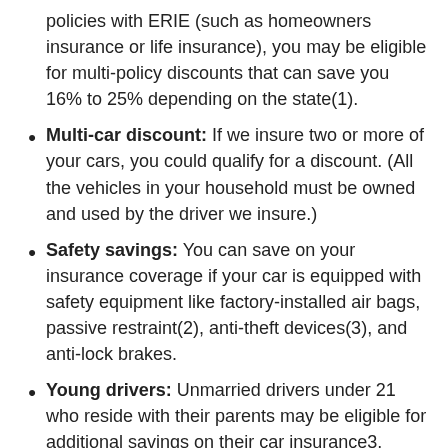policies with ERIE (such as homeowners insurance or life insurance), you may be eligible for multi-policy discounts that can save you 16% to 25% depending on the state(1).
Multi-car discount: If we insure two or more of your cars, you could qualify for a discount. (All the vehicles in your household must be owned and used by the driver we insure.)
Safety savings: You can save on your insurance coverage if your car is equipped with safety equipment like factory-installed air bags, passive restraint(2), anti-theft devices(3), and anti-lock brakes.
Young drivers: Unmarried drivers under 21 who reside with their parents may be eligible for additional savings on their car insurance3.